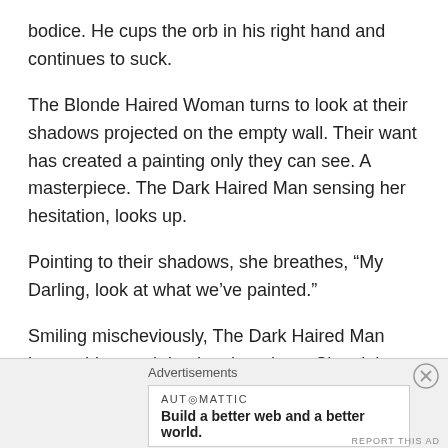bodice. He cups the orb in his right hand and continues to suck.
The Blonde Haired Woman turns to look at their shadows projected on the empty wall. Their want has created a painting only they can see. A masterpiece. The Dark Haired Man sensing her hesitation, looks up.
Pointing to their shadows, she breathes, “My Darling, look at what we’ve painted.”
Smiling mischeviously, The Dark Haired Man lowers his mouth back to her chest. She sighs as he gives her a light kiss and continues his exploration. The Blonde Haired
Advertisements
[Figure (logo): Automattic advertisement banner with tagline: Build a better web and a better world.]